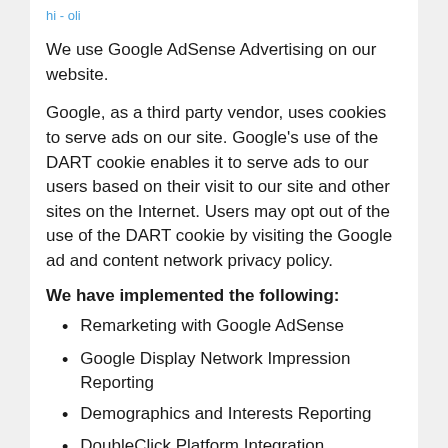hi - oli
We use Google AdSense Advertising on our website.
Google, as a third party vendor, uses cookies to serve ads on our site. Google's use of the DART cookie enables it to serve ads to our users based on their visit to our site and other sites on the Internet. Users may opt out of the use of the DART cookie by visiting the Google ad and content network privacy policy.
We have implemented the following:
Remarketing with Google AdSense
Google Display Network Impression Reporting
Demographics and Interests Reporting
DoubleClick Platform Integration